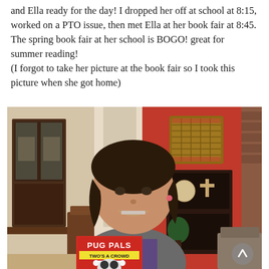and Ella ready for the day! I dropped her off at school at 8:15, worked on a PTO issue, then met Ella at her book fair at 8:45. The spring book fair at her school is BOGO! great for summer reading!
(I forgot to take her picture at the book fair so I took this picture when she got home)
[Figure (photo): A smiling young girl with braces holding up a red book titled 'Pug Pals: Two's a Crowd'. She is standing in a home interior with a wooden china cabinet on the left and a red wall with shelving unit on the right.]